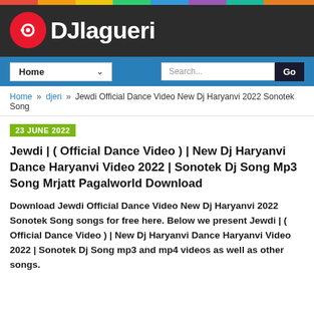[Figure (logo): DJLagueri website logo on dark background with rainbow stripe at top]
Home  Search...  Go
Home » djeri » Jewdi Official Dance Video New Dj Haryanvi 2022 Sonotek Song
23 JUNE 2022
Jewdi | ( Official Dance Video ) | New Dj Haryanvi Dance Haryanvi Video 2022 | Sonotek Dj Song Mp3 Song Mrjatt Pagalworld Download
Download Jewdi Official Dance Video New Dj Haryanvi 2022 Sonotek Song songs for free here. Below we present Jewdi | ( Official Dance Video ) | New Dj Haryanvi Dance Haryanvi Video 2022 | Sonotek Dj Song mp3 and mp4 videos as well as other songs.